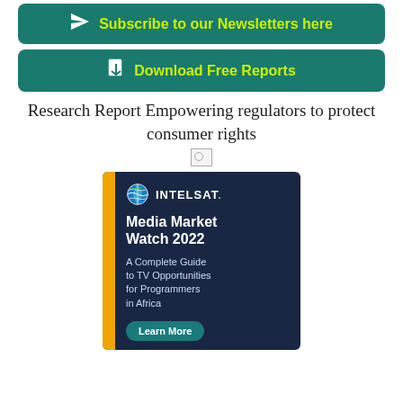[Figure (other): Green button: Subscribe to our Newsletters here with paper airplane icon]
[Figure (other): Green button: Download Free Reports with document icon]
Research Report Empowering regulators to protect consumer rights
[Figure (other): Broken image placeholder icon]
[Figure (other): Intelsat advertisement: Media Market Watch 2022 - A Complete Guide to TV Opportunities for Programmers in Africa. Learn More button.]